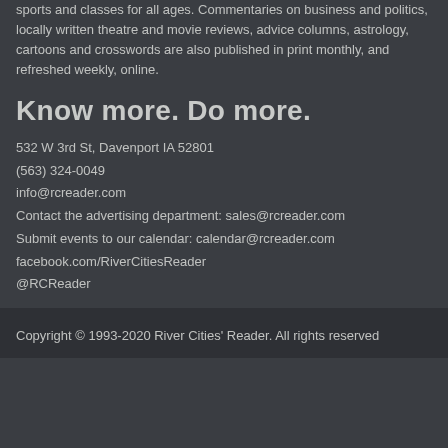sports and classes for all ages. Commentaries on business and politics, locally written theatre and movie reviews, advice columns, astrology, cartoons and crosswords are also published in print monthly, and refreshed weekly, online.
Know more. Do more.
532 W 3rd St, Davenport IA 52801
(563) 324-0049
info@rcreader.com
Contact the advertising department: sales@rcreader.com
Submit events to our calendar: calendar@rcreader.com
facebook.com/RiverCitiesReader
@RCReader
Copyright © 1993-2020 River Cities' Reader. All rights reserved